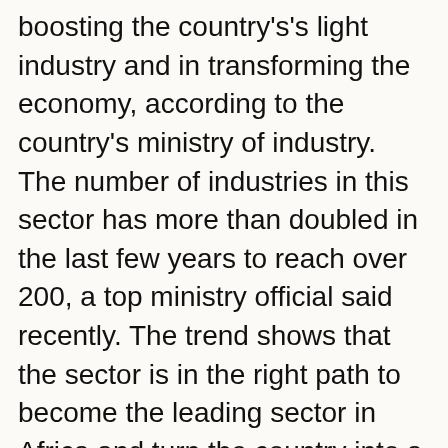boosting the country's's light industry and in transforming the economy, according to the country's ministry of industry. The number of industries in this sector has more than doubled in the last few years to reach over 200, a top ministry official said recently. The trend shows that the sector is in the right path to become the leading sector in Africa and turn the country into a continental textile hub in the coming years, Zerihun Abebe, director of textile and apparel research, monitoring and support, in the industry ministry told The Ethiopian Herald newspaper.